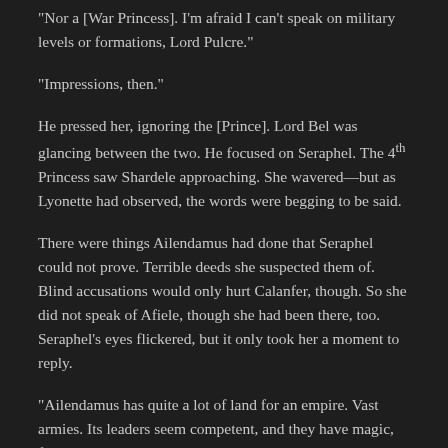“Nor a [War Princess]. I’m afraid I can’t speak on military levels or formations, Lord Pulcre.”
“Impressions, then.”
He pressed her, ignoring the [Prince]. Lord Bel was glancing between the two. He focused on Seraphel. The 4th Princess saw Shardele approaching. She wavered—but as Lyonette had observed, the words were begging to be said.
There were things Ailendamus had done that Seraphel could not prove. Terrible deeds she suspected them of. Blind accusations would only hurt Calanfer, though. So she did not speak of Afiele, though she had been there, too. Seraphel’s eyes flickered, but it only took her a moment to reply.
“Ailendamus has quite a lot of land for an empire. Vast armies. Its leaders seem competent, and they have magic, fine steel, and a certain resolve in their [Soldiers]. I have seen better.”